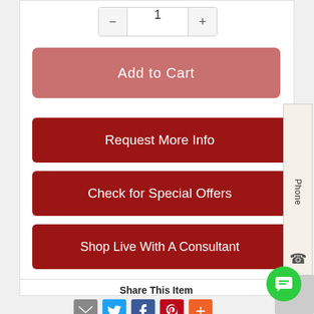[Figure (screenshot): Quantity selector with minus and plus buttons and value 1]
Add to Cart
Request More Info
Check for Special Offers
Shop Live With A Consultant
Share This Item
[Figure (infographic): Social share icons: email, twitter, facebook, pinterest, more]
[Figure (other): Green chat bubble icon in bottom right corner]